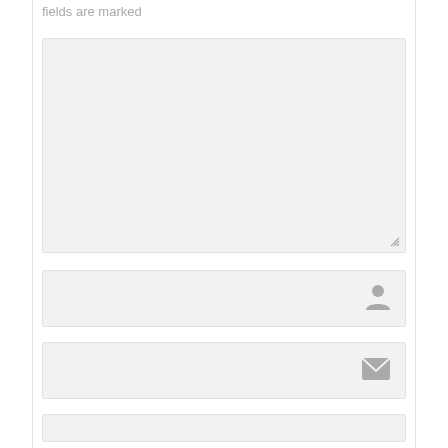fields are marked
[Figure (screenshot): Large text area input field with light gray background and resize handle at bottom right]
[Figure (screenshot): Name input field with gray background and person/user icon on the right]
[Figure (screenshot): Email input field with gray background and envelope/mail icon on the right]
[Figure (screenshot): Partial input field at bottom of page with gray background]